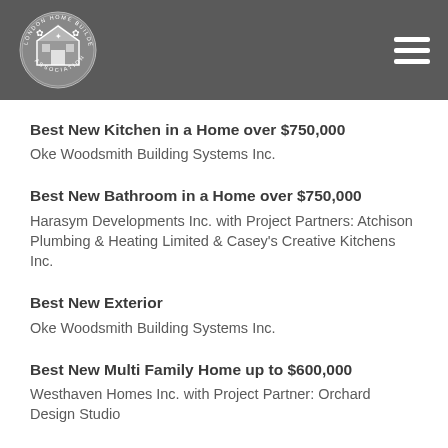[Figure (logo): London Home Builders Association circular logo in white on dark grey header background]
Best New Kitchen in a Home over $750,000
Oke Woodsmith Building Systems Inc.
Best New Bathroom in a Home over $750,000
Harasym Developments Inc. with Project Partners: Atchison Plumbing & Heating Limited & Casey's Creative Kitchens Inc.
Best New Exterior
Oke Woodsmith Building Systems Inc.
Best New Multi Family Home up to $600,000
Westhaven Homes Inc. with Project Partner: Orchard Design Studio